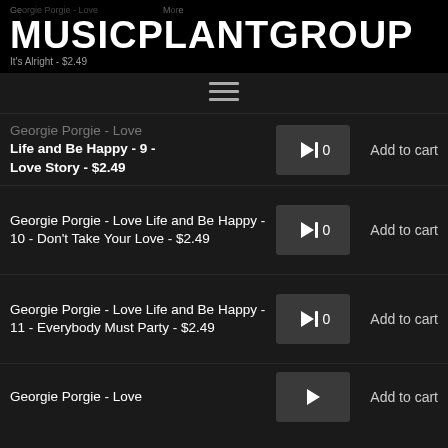MUSICPLANTGROUP
Georgie Porgie - Love Life and Be Happy - 8 - It's Alright - $2.49
[Figure (screenshot): Navigation/hamburger menu icon with three horizontal lines]
Georgie Porgie - Love Life and Be Happy - 9 - Love Story - $2.49
Add to cart
Georgie Porgie - Love Life and Be Happy - 10 - Don't Take Your Love - $2.49
Add to cart
Georgie Porgie - Love Life and Be Happy - 11 - Everybody Must Party - $2.49
Add to cart
Georgie Porgie - Love Life and Be Happy
Add to cart